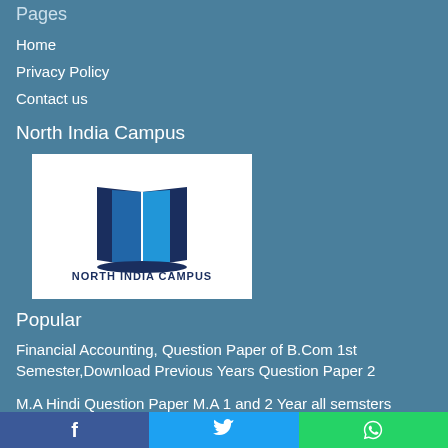Pages
Home
Privacy Policy
Contact us
North India Campus
[Figure (logo): North India Campus logo with open book icon and text 'NORTH INDIA CAMPUS' in dark blue on white background]
Popular
Financial Accounting, Question Paper of B.Com 1st Semester,Download Previous Years Question Paper 2
M.A Hindi Question Paper M.A 1 and 2 Year all semsters Question Paper Download
Facebook | Twitter | WhatsApp